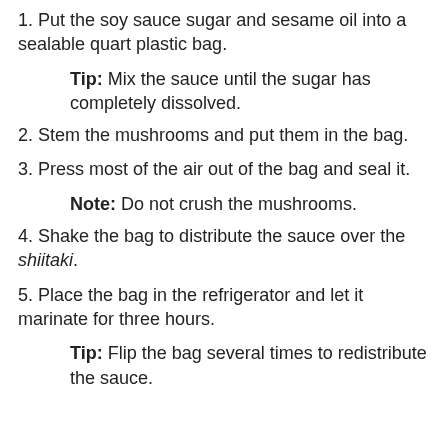1. Put the soy sauce sugar and sesame oil into a sealable quart plastic bag.
Tip: Mix the sauce until the sugar has completely dissolved.
2. Stem the mushrooms and put them in the bag.
3. Press most of the air out of the bag and seal it.
Note: Do not crush the mushrooms.
4. Shake the bag to distribute the sauce over the shiitaki.
5. Place the bag in the refrigerator and let it marinate for three hours.
Tip: Flip the bag several times to redistribute the sauce.